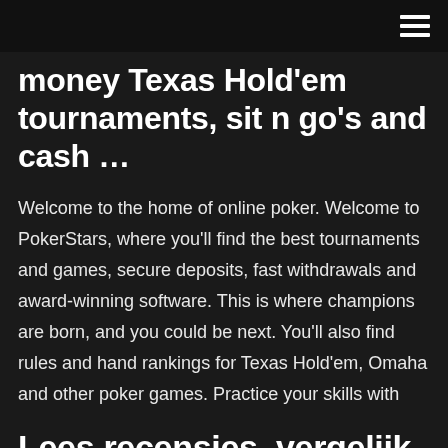≡
money Texas Hold'em tournaments, sit n go's and cash …
Welcome to the home of online poker. Welcome to PokerStars, where you'll find the best tournaments and games, secure deposits, fast withdrawals and award-winning software. This is where champions are born, and you could be next. You'll also find rules and hand rankings for Texas Hold'em, Omaha and other poker games. Practice your skills with
Lees recensies, vergelijk klantbeoordelingen, bekijk schermafbeeldingen en lees meer over Texas Holdem, Scatter